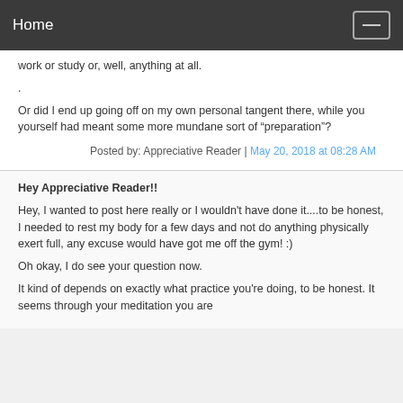Home
work or study or, well, anything at all.
.
Or did I end up going off on my own personal tangent there, while you yourself had meant some more mundane sort of “preparation”?
Posted by: Appreciative Reader | May 20, 2018 at 08:28 AM
Hey Appreciative Reader!!
Hey, I wanted to post here really or I wouldn't have done it....to be honest, I needed to rest my body for a few days and not do anything physically exert full, any excuse would have got me off the gym! :)
Oh okay, I do see your question now.
It kind of depends on exactly what practice you're doing, to be honest. It seems through your meditation you are